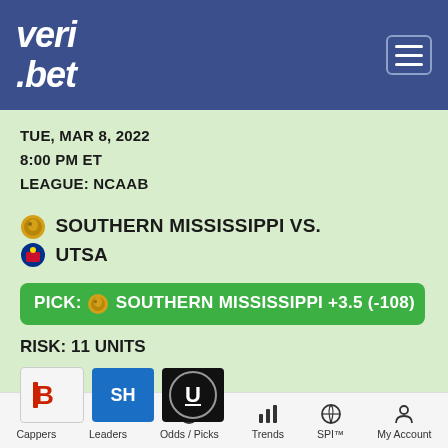[Figure (logo): Veri.bet logo in white italic text on blue header background]
TUE, MAR 8, 2022
8:00 PM ET
LEAGUE: NCAAB
SOUTHERN MISSISSIPPI VS.
UTSA
PICK: SOUTHERN MISSISSIPPI +3.5 (-108)
RISK: 11 UNITS
[Figure (logo): Sponsor logos: BetRivers (B), SH, U (Unibet)]
Cappers | Leaders | Odds / Picks | Trends | SPI™ | My Account